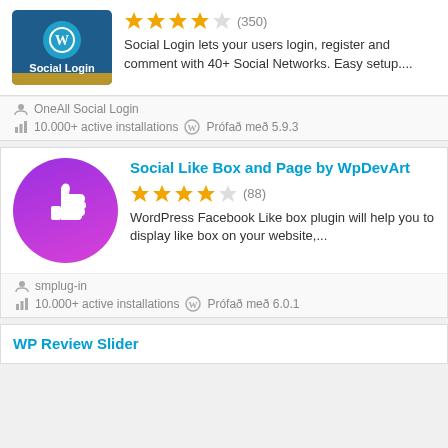[Figure (screenshot): Social Login plugin card (partial, top) with logo, 4.5 star rating (350 reviews), and description text]
Social Login lets your users login, register and comment with 40+ Social Networks. Easy setup....
OneAll Social Login
10.000+ active installations  Prófað með 5.9.3
[Figure (screenshot): Social Like Box and Page by WpDevArt plugin card with thumbs-up icon, 4-star rating (88 reviews)]
Social Like Box and Page by WpDevArt
WordPress Facebook Like box plugin will help you to display like box on your website,...
smplug-in
10.000+ active installations  Prófað með 6.0.1
WP Review Slider